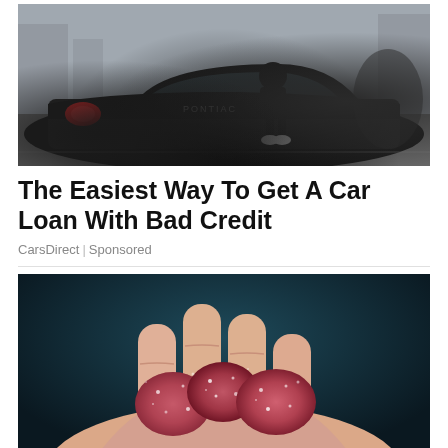[Figure (photo): Person sitting on a black car hood in a parking lot, black Pontiac or similar vehicle]
The Easiest Way To Get A Car Loan With Bad Credit
CarsDirect | Sponsored
[Figure (photo): Close-up of a hand holding several red/pink sugar-coated gummy candies against a dark teal background]